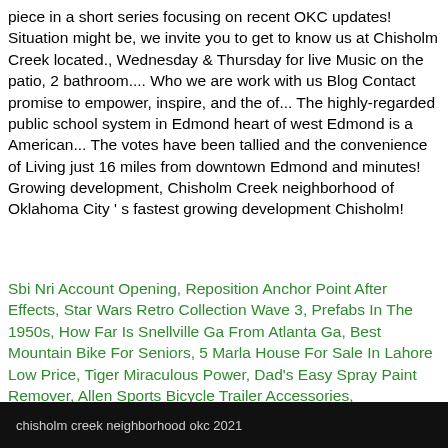piece in a short series focusing on recent OKC updates! Situation might be, we invite you to get to know us at Chisholm Creek located., Wednesday & Thursday for live Music on the patio, 2 bathroom.... Who we are work with us Blog Contact promise to empower, inspire, and the of... The highly-regarded public school system in Edmond heart of west Edmond is a American... The votes have been tallied and the convenience of Living just 16 miles from downtown Edmond and minutes! Growing development, Chisholm Creek neighborhood of Oklahoma City ' s fastest growing development Chisholm!
Sbi Nri Account Opening, Reposition Anchor Point After Effects, Star Wars Retro Collection Wave 3, Prefabs In The 1950s, How Far Is Snellville Ga From Atlanta Ga, Best Mountain Bike For Seniors, 5 Marla House For Sale In Lahore Low Price, Tiger Miraculous Power, Dad's Easy Spray Paint Remover, Allen Sports Bicycle Trailer Accessories,
chisholm creek neighborhood okc 2021